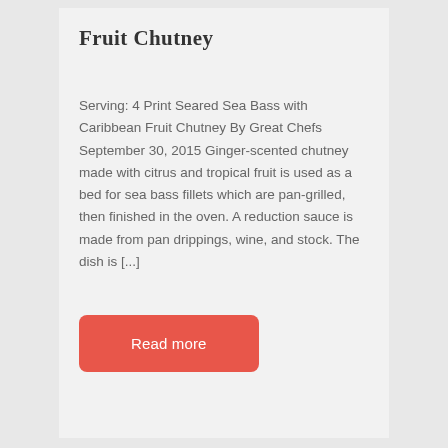Fruit Chutney
Serving: 4 Print Seared Sea Bass with Caribbean Fruit Chutney By Great Chefs September 30, 2015 Ginger-scented chutney made with citrus and tropical fruit is used as a bed for sea bass fillets which are pan-grilled, then finished in the oven. A reduction sauce is made from pan drippings, wine, and stock. The dish is [...]
Read more